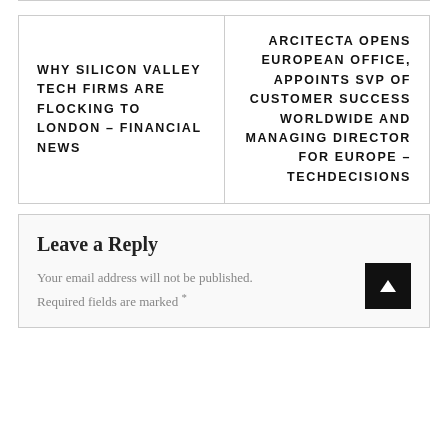WHY SILICON VALLEY TECH FIRMS ARE FLOCKING TO LONDON – FINANCIAL NEWS
ARCITECTA OPENS EUROPEAN OFFICE, APPOINTS SVP OF CUSTOMER SUCCESS WORLDWIDE AND MANAGING DIRECTOR FOR EUROPE – TECHDECISIONS
Leave a Reply
Your email address will not be published. Required fields are marked *